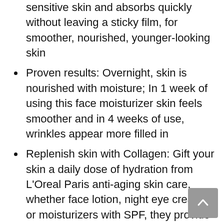sensitive skin and absorbs quickly without leaving a sticky film, for smoother, nourished, younger-looking skin
Proven results: Overnight, skin is nourished with moisture; In 1 week of using this face moisturizer skin feels smoother and in 4 weeks of use, wrinkles appear more filled in
Replenish skin with Collagen: Gift your skin a daily dose of hydration from L'Oreal Paris anti-aging skin care, whether face lotion, night eye creams, or moisturizers with SPF, they provide your skin essential moisture to keep skin healthy
Kickstart your routine; First cleanse with Revitalift Derm Intensives 3.5